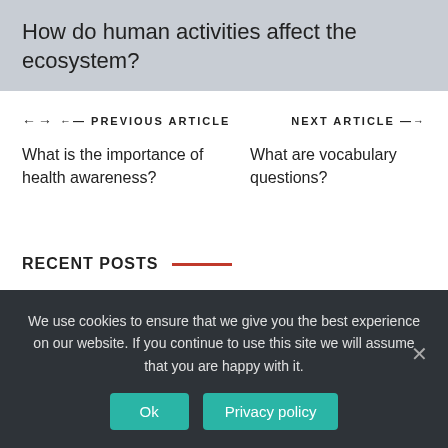How do human activities affect the ecosystem?
← PREVIOUS ARTICLE    NEXT ARTICLE →
What is the importance of health awareness?    What are vocabulary questions?
RECENT POSTS
We use cookies to ensure that we give you the best experience on our website. If you continue to use this site we will assume that you are happy with it.
Ok    Privacy policy